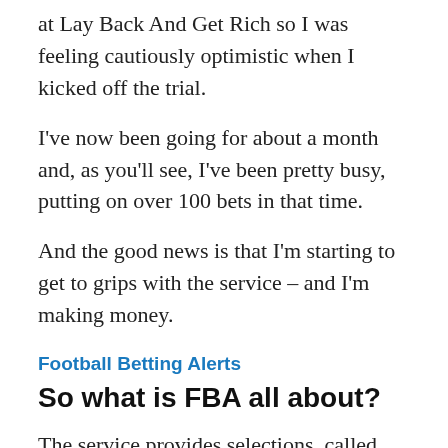at Lay Back And Get Rich so I was feeling cautiously optimistic when I kicked off the trial.
I've now been going for about a month and, as you'll see, I've been pretty busy, putting on over 100 bets in that time.
And the good news is that I'm starting to get to grips with the service – and I'm making money.
Football Betting Alerts
So what is FBA all about?
The service provides selections, called Picks, via the FBA site only. Their advice is to check on the site 2 or 4 times a week to see if you are